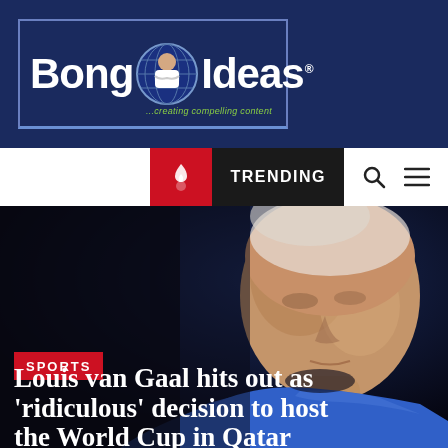[Figure (logo): Bong Ideas logo on dark navy blue background with globe icon and person, tagline '...creating compelling content']
TRENDING
[Figure (photo): Close-up photo of an elderly man (Louis van Gaal) wearing a blue jacket, dark background]
SPORTS
Louis van Gaal hits out as 'ridiculous' decision to host the World Cup in Qatar